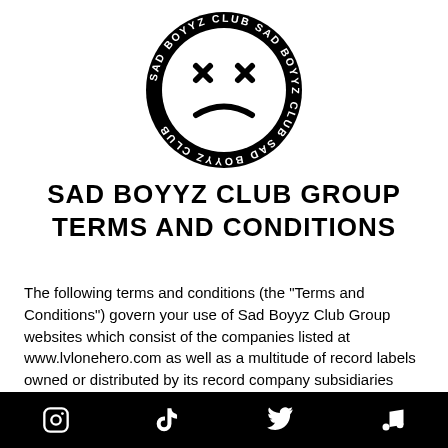[Figure (logo): Sad Boyyz Club circular logo with sad face (X eyes and frown) and text 'SAD BOYYZ CLUB' repeated around the ring]
SAD BOYYZ CLUB GROUP TERMS AND CONDITIONS
The following terms and conditions (the "Terms and Conditions") govern your use of Sad Boyyz Club Group websites which consist of the companies listed at www.lvlonehero.com as well as a multitude of record labels owned or distributed by its record company subsidiaries around the world and their domain names (collectively, the "Site").  The Site is made available by
Instagram | TikTok | Twitter | Music icons